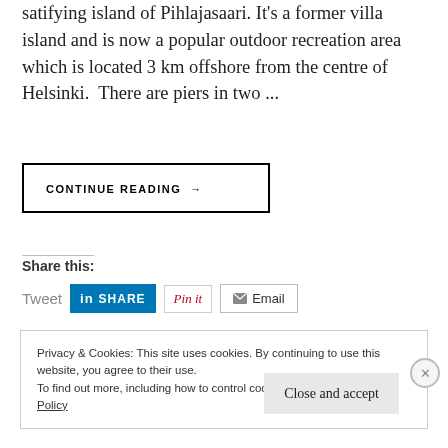...satifying island of Pihlajasaari. It's a former villa island and is now a popular outdoor recreation area which is located 3 km offshore from the centre of Helsinki.  There are piers in two ...
CONTINUE READING →
Share this:
Tweet  SHARE  Pin it  Email
Privacy & Cookies: This site uses cookies. By continuing to use this website, you agree to their use.
To find out more, including how to control cookies, see here: Privacy Policy
Close and accept